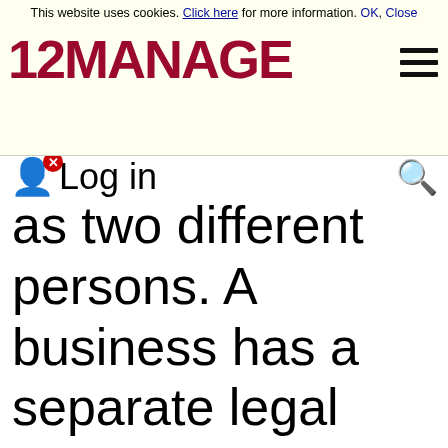This website uses cookies. Click here for more information. OK, Close
[Figure (logo): 12MANAGE logo in dark red bold text with hamburger menu icon]
as two different persons. A business has a separate legal existence. Thus, GAAP requires preparing all financial statements based on the economic